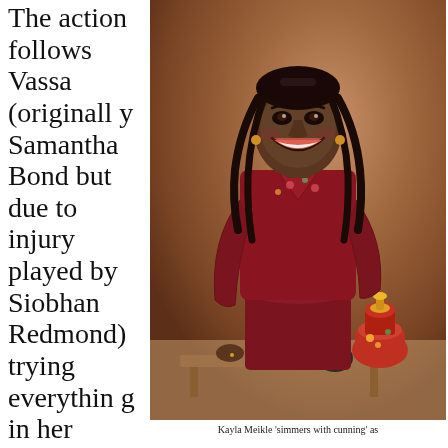The action follows Vassa (originally Samantha Bond but due to injury played by Siobhan Redmond) trying everything in her power to
[Figure (photo): A smiling Black woman with long braided hair wearing a dark red floral embroidered velvet dress, standing behind a table with tea items including a decorated red samovar, in a stage production setting.]
Kayla Meikle 'simmers with cunning' as